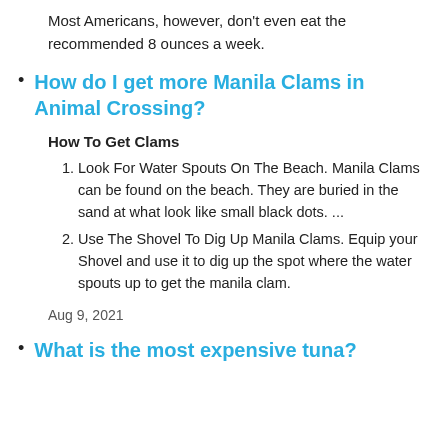Most Americans, however, don't even eat the recommended 8 ounces a week.
How do I get more Manila Clams in Animal Crossing?
How To Get Clams
Look For Water Spouts On The Beach. Manila Clams can be found on the beach. They are buried in the sand at what look like small black dots. ...
Use The Shovel To Dig Up Manila Clams. Equip your Shovel and use it to dig up the spot where the water spouts up to get the manila clam.
Aug 9, 2021
What is the most expensive tuna?